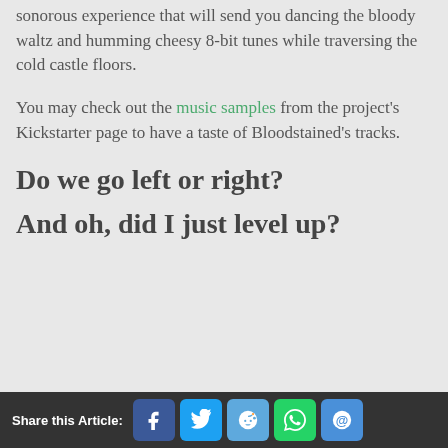sonorous experience that will send you dancing the bloody waltz and humming cheesy 8-bit tunes while traversing the cold castle floors.
You may check out the music samples from the project's Kickstarter page to have a taste of Bloodstained's tracks.
Do we go left or right?
And oh, did I just level up?
Share this Article: